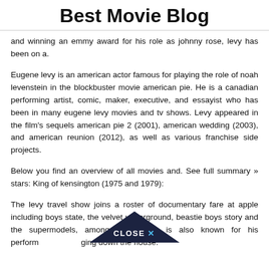Best Movie Blog
and winning an emmy award for his role as johnny rose, levy has been on a.
Eugene levy is an american actor famous for playing the role of noah levenstein in the blockbuster movie american pie. He is a canadian performing artist, comic, maker, executive, and essayist who has been in many eugene levy movies and tv shows. Levy appeared in the film's sequels american pie 2 (2001), american wedding (2003), and american reunion (2012), as well as various franchise side projects.
Below you find an overview of all movies and. See full summary » stars: King of kensington (1975 and 1979):
The levy travel show joins a roster of documentary fare at apple including boys state, the velvet underground, beastie boys story and the supermodels, among others. He is also known for his performing down the house.